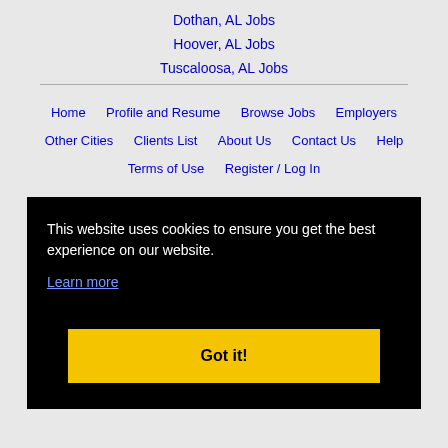Dothan, AL Jobs
Hoover, AL Jobs
Tuscaloosa, AL Jobs
Home | Profile and Resume | Browse Jobs | Employers
Other Cities | Clients List | About Us | Contact Us | Help
Terms of Use | Register / Log In
This website uses cookies to ensure you get the best experience on our website.
Learn more
Got it!